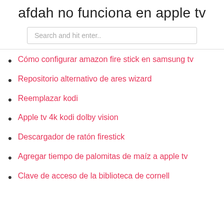afdah no funciona en apple tv
Cómo configurar amazon fire stick en samsung tv
Repositorio alternativo de ares wizard
Reemplazar kodi
Apple tv 4k kodi dolby vision
Descargador de ratón firestick
Agregar tiempo de palomitas de maíz a apple tv
Clave de acceso de la biblioteca de cornell